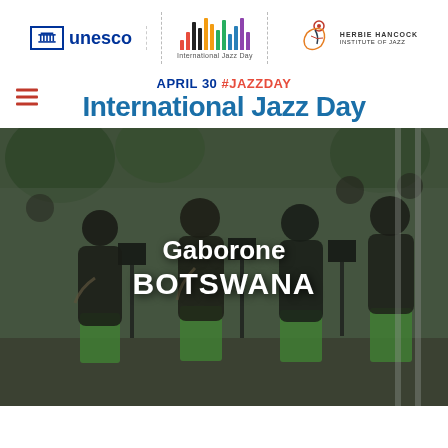[Figure (logo): UNESCO logo, International Jazz Day logo with colorful vertical bars, and Herbie Hancock Institute of Jazz logo with stylized figure]
APRIL 30 #JAZZDAY
International Jazz Day
[Figure (photo): Photo of young musicians playing saxophones and other instruments outdoors in Gaborone, Botswana, with text overlay 'Gaborone BOTSWANA']